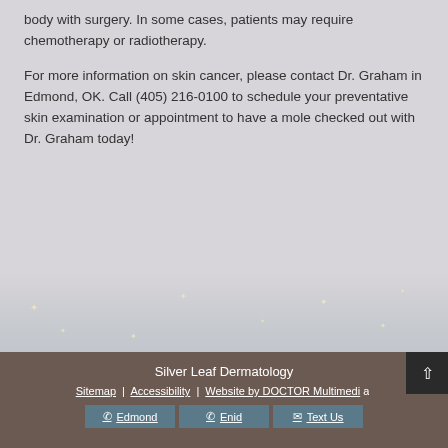body with surgery. In some cases, patients may require chemotherapy or radiotherapy.
For more information on skin cancer, please contact Dr. Graham in Edmond, OK. Call (405) 216-0100 to schedule your preventative skin examination or appointment to have a mole checked out with Dr. Graham today!
Silver Leaf Dermatology
Sitemap | Accessibility | Website by DOCTOR Multimedia
Edmond | Enid | Text Us